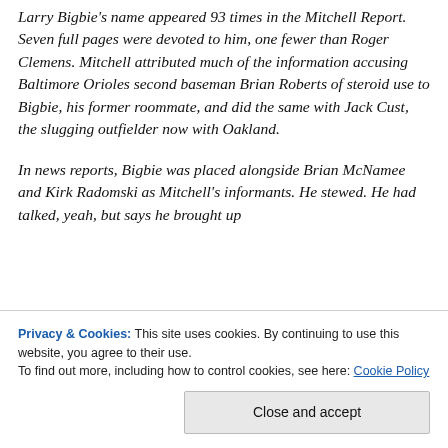Larry Bigbie's name appeared 93 times in the Mitchell Report. Seven full pages were devoted to him, one fewer than Roger Clemens. Mitchell attributed much of the information accusing Baltimore Orioles second baseman Brian Roberts of steroid use to Bigbie, his former roommate, and did the same with Jack Cust, the slugging outfielder now with Oakland.

In news reports, Bigbie was placed alongside Brian McNamee and Kirk Radomski as Mitchell's informants. He stewed. He had talked, yeah, but says he brought up
Privacy & Cookies: This site uses cookies. By continuing to use this website, you agree to their use.
To find out more, including how to control cookies, see here: Cookie Policy
Close and accept